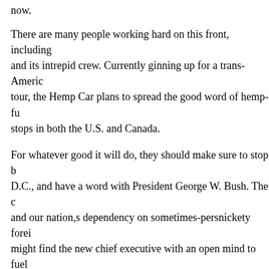now.
There are many people working hard on this front, including and its intrepid crew. Currently ginning up for a trans-Americ tour, the Hemp Car plans to spread the good word of hemp-fu stops in both the U.S. and Canada.
For whatever good it will do, they should make sure to stop b D.C., and have a word with President George W. Bush. The c and our nation,s dependency on sometimes-persnickety forei might find the new chief executive with an open mind to fuel than Texas tea -- regardless of his oily bank accounts. And, w his dad's legacy is not Goal 1 for Dubya, it might also help hi forward thinking in terms of energy policy and the environme
Of course, hemp fuel may never take off. It might dry up like crops left unattended after the feds banned their cultivation in One way or the other, Bush should consider freeing up the ma innovate with alternative fuels like hemp oil -- it couldn,t hur the chance to help. In so doing, he,ll end his term with a far b than the "environmental president." For, if other policy decisi go in a similar direction, we can perhaps call him the "free-m